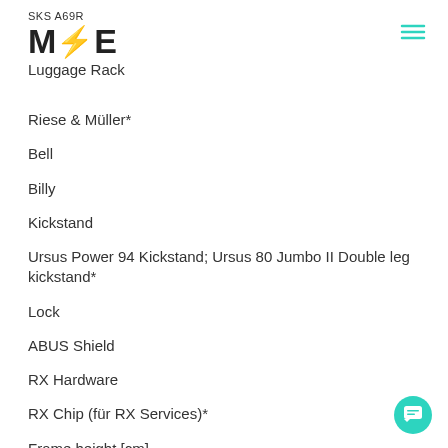SKS A69R M/E
Luggage Rack
Riese & Müller*
Bell
Billy
Kickstand
Ursus Power 94 Kickstand; Ursus 80 Jumbo II Double leg kickstand*
Lock
ABUS Shield
RX Hardware
RX Chip (für RX Services)*
Frame height [cm]
47 cm*; 51 cm*
The specification table indicates all available components for